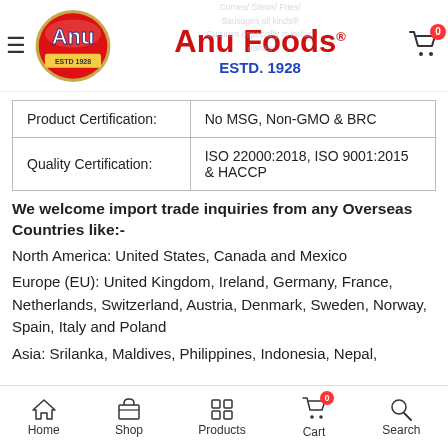Anu Foods ESTD. 1928
| Product Certification: | No MSG, Non-GMO & BRC |
| Quality Certification: | ISO 22000:2018, ISO 9001:2015 & HACCP |
We welcome import trade inquiries from any Overseas Countries like:-
North America: United States, Canada and Mexico
Europe (EU): United Kingdom, Ireland, Germany, France, Netherlands, Switzerland, Austria, Denmark, Sweden, Norway, Spain, Italy and Poland
Asia: Srilanka, Maldives, Philippines, Indonesia, Nepal,
Home  Shop  Products  Cart  Search